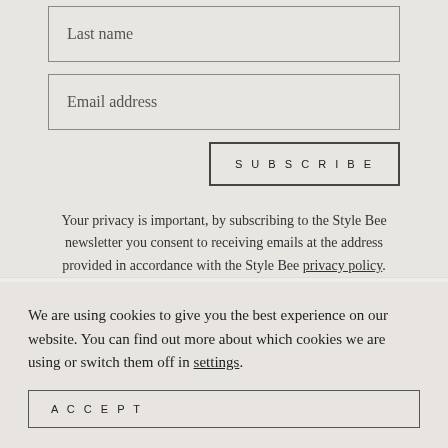Last name
Email address
SUBSCRIBE
Your privacy is important, by subscribing to the Style Bee newsletter you consent to receiving emails at the address provided in accordance with the Style Bee privacy policy.
[Figure (illustration): Partial arc/semicircle outline visible at top of lower section]
We are using cookies to give you the best experience on our website. You can find out more about which cookies we are using or switch them off in settings.
ACCEPT